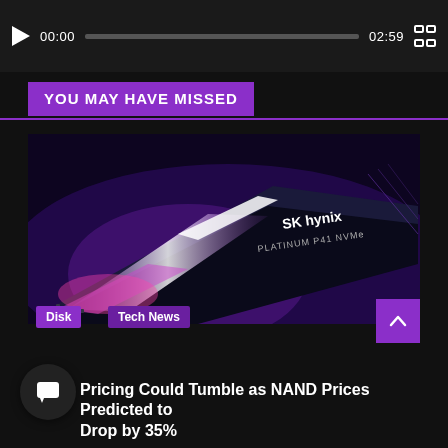[Figure (screenshot): Video player bar with play button, timestamp 00:00, progress bar, end time 02:59, and fullscreen button on dark background]
YOU MAY HAVE MISSED
[Figure (photo): SK Hynix Platinum P41 NVMe SSD with purple/pink LED lighting on dark background]
Pricing Could Tumble as NAND Prices Predicted to Drop by 35%